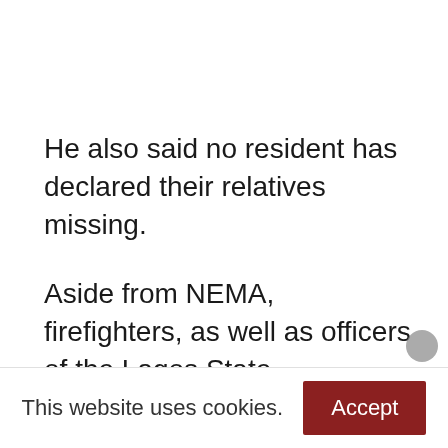He also said no resident has declared their relatives missing.
Aside from NEMA, firefighters, as well as officers of the Lagos State Emergency Management Agency (LASEMA), Nigerian Security and Civil Defence Corps (NSCDC), Nigeria Police Force (NPF), and Nigeria Red Cross, are at the scene of the incident.
This website uses cookies.